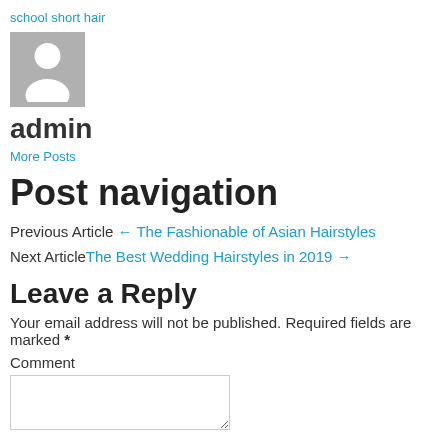school short hair
[Figure (illustration): Generic avatar placeholder: grey square with white silhouette of a person]
admin
More Posts
Post navigation
Previous Article ← The Fashionable of Asian Hairstyles
Next Article The Best Wedding Hairstyles in 2019 →
Leave a Reply
Your email address will not be published. Required fields are marked *
Comment